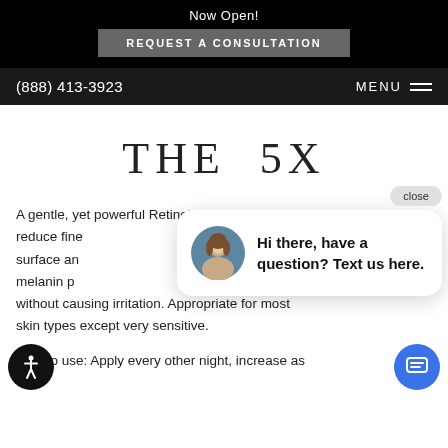Now Open!
REQUEST A CONSULTATION
(888) 413-3923   MENU
THE 5X
A gentle, yet powerful Retinol serum that may reduce fine [lines], surface and [skin] melanin p[roduction] without causing irritation. Appropriate for most skin types except very sensitive.
Hi there, have a question? Text us here.
How to use: Apply every other night, increase as